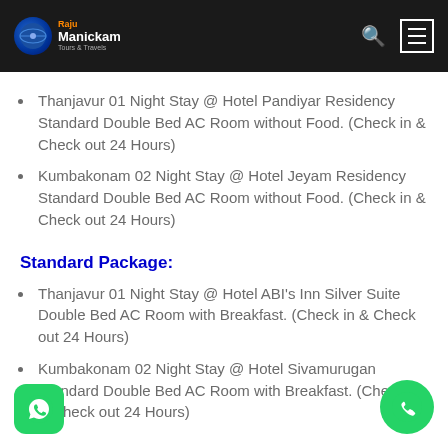RajuManickam Tours & Travels
Thanjavur 01 Night Stay @ Hotel Pandiyar Residency Standard Double Bed AC Room without Food. (Check in & Check out 24 Hours)
Kumbakonam 02 Night Stay @ Hotel Jeyam Residency Standard Double Bed AC Room without Food. (Check in & Check out 24 Hours)
Standard Package:
Thanjavur 01 Night Stay @ Hotel ABI's Inn Silver Suite Double Bed AC Room with Breakfast. (Check in & Check out 24 Hours)
Kumbakonam 02 Night Stay @ Hotel Sivamurugan Standard Double Bed AC Room with Breakfast. (Check in & Check out 24 Hours)